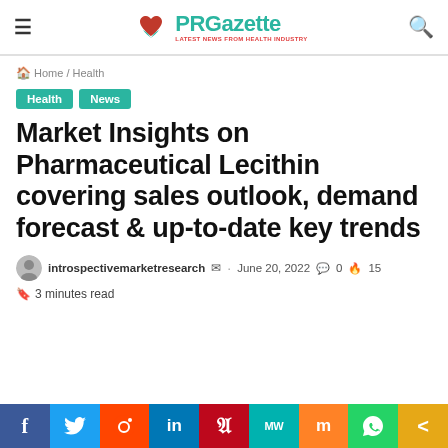PRGazette — LATEST NEWS FROM HEALTH INDUSTRY
Home / Health
Health  News
Market Insights on Pharmaceutical Lecithin covering sales outlook, demand forecast & up-to-date key trends
introspectivemarketresearch  ·  June 20, 2022  🗨 0  🔥 15
3 minutes read